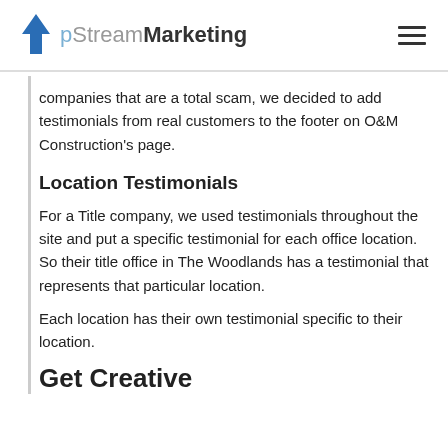UpStreamMarketing
companies that are a total scam, we decided to add testimonials from real customers to the footer on O&M Construction's page.
Location Testimonials
For a Title company, we used testimonials throughout the site and put a specific testimonial for each office location.  So their title office in The Woodlands has a testimonial that represents that particular location.
Each location has their own testimonial specific to their location.
Get Creative